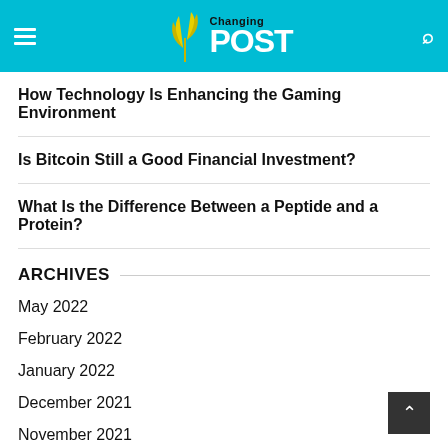Changing POST
How Technology Is Enhancing the Gaming Environment
Is Bitcoin Still a Good Financial Investment?
What Is the Difference Between a Peptide and a Protein?
ARCHIVES
May 2022
February 2022
January 2022
December 2021
November 2021
October 2021
September 2021